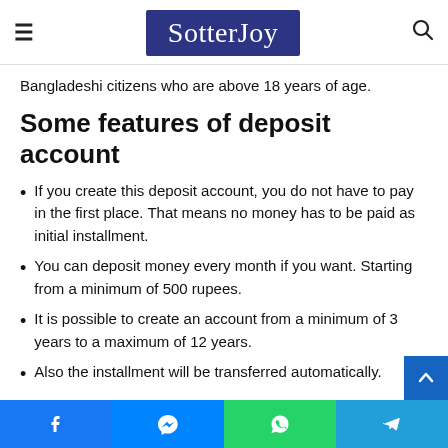SotterJoy
Bangladeshi citizens who are above 18 years of age.
Some features of deposit account
If you create this deposit account, you do not have to pay in the first place. That means no money has to be paid as initial installment.
You can deposit money every month if you want. Starting from a minimum of 500 rupees.
It is possible to create an account from a minimum of 3 years to a maximum of 12 years.
Also the installment will be transferred automatically.
Facebook | Messenger | WhatsApp | Telegram